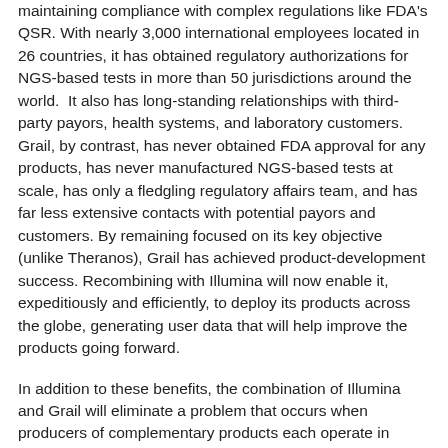maintaining compliance with complex regulations like FDA's QSR. With nearly 3,000 international employees located in 26 countries, it has obtained regulatory authorizations for NGS-based tests in more than 50 jurisdictions around the world.  It also has long-standing relationships with third-party payors, health systems, and laboratory customers. Grail, by contrast, has never obtained FDA approval for any products, has never manufactured NGS-based tests at scale, has only a fledgling regulatory affairs team, and has far less extensive contacts with potential payors and customers. By remaining focused on its key objective (unlike Theranos), Grail has achieved product-development success. Recombining with Illumina will now enable it, expeditiously and efficiently, to deploy its products across the globe, generating user data that will help improve the products going forward.
In addition to these benefits, the combination of Illumina and Grail will eliminate a problem that occurs when producers of complementary products each operate in markets that are not fully competitive: double marginalization. When sellers of products that are used together each possess some market power due to a lack of competition, their uncoordinated pricing decisions may result in less surplus for each of them and for consumers of their products. Combining so that they can coordinate pricing will leave them and their customers better off.